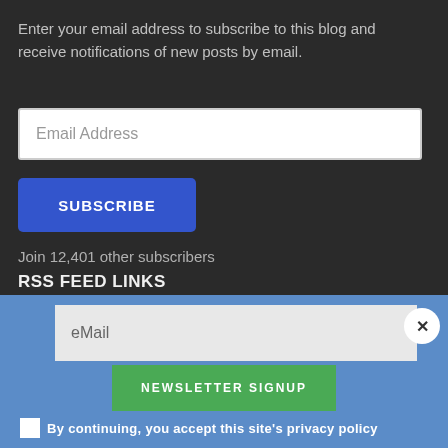Enter your email address to subscribe to this blog and receive notifications of new posts by email.
Email Address
SUBSCRIBE
Join 12,401 other subscribers
RSS FEED LINKS
eMail
NEWSLETTER SIGNUP
By continuing, you accept this site's privacy policy